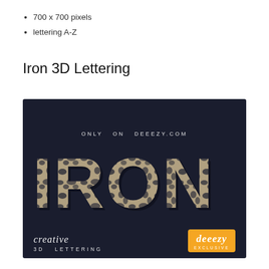700 x 700 pixels
lettering A-Z
Iron 3D Lettering
[Figure (illustration): Dark navy background promotional image showing the word IRON in large 3D textured stone/iron letters with bubble-like pattern. Top reads 'ONLY ON DEEEZY.COM'. Bottom left has 'creative 3D LETTERING' text in script and sans-serif. Bottom right has a deeezy EXCLUSIVE orange badge.]